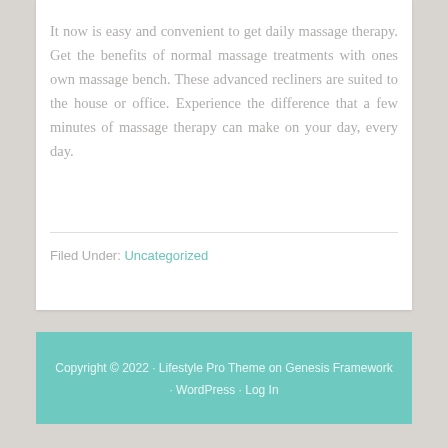It now is easy and convenient to get daily massage therapy. Get the benefits of normal massage treatments with ones own massage bench. These advanced recliners are suited to the house or office. Experience the difference that a few minutes of massage therapy can make on your day, every day.
Filed Under: Uncategorized
Copyright © 2022 · Lifestyle Pro Theme on Genesis Framework · WordPress · Log In